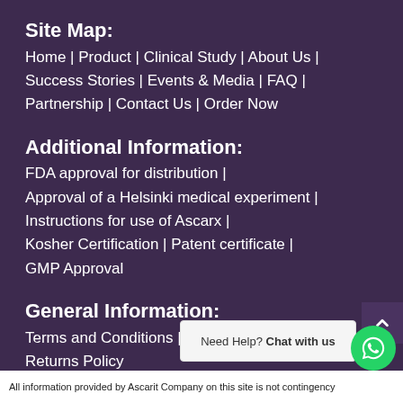Site Map:
Home | Product | Clinical Study | About Us | Success Stories | Events & Media | FAQ | Partnership | Contact Us | Order Now
Additional Information:
FDA approval for distribution | Approval of a Helsinki medical experiment | Instructions for use of Ascarx | Kosher Certification | Patent certificate | GMP Approval
General Information:
Terms and Conditions | Privacy Policy | Returns Policy
Need Help? Chat with us
All information provided by Ascarit Company on this site is not contingency